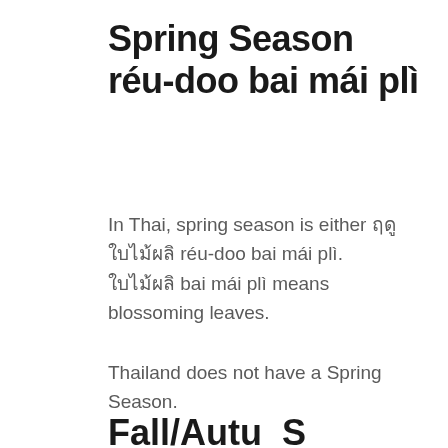Spring Season réu-doo bai mái plì
In Thai, spring season is either ฤดูใบไม้ผลิ réu-doo bai mái plì. ใบไม้ผลิ bai mái plì means blossoming leaves.
Thailand does not have a Spring Season.
Fall/Autu...